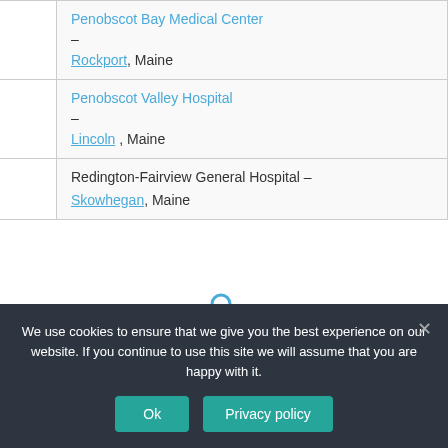|  | Penobscot Bay Medical Center – Rockport, Maine |
|  | Penobscot Valley Hospital – Lincoln , Maine |
|  | Redington-Fairview General Hospital – Skowhegan, Maine |
[Figure (other): Partial search icon visible at bottom of content area]
We use cookies to ensure that we give you the best experience on our website. If you continue to use this site we will assume that you are happy with it.
Ok  Privacy policy